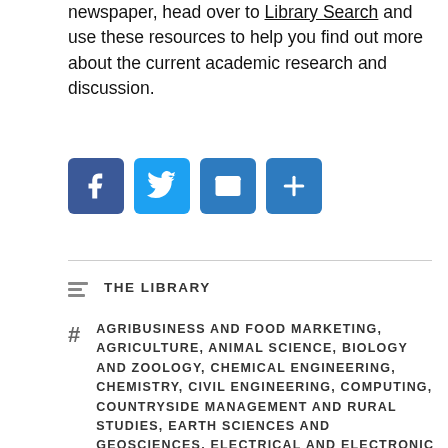newspaper, head over to Library Search and use these resources to help you find out more about the current academic research and discussion.
[Figure (illustration): Social sharing icons: Facebook (blue), Twitter (light blue), Email (blue envelope), Share/Add (blue plus)]
THE LIBRARY
AGRIBUSINESS AND FOOD MARKETING, AGRICULTURE, ANIMAL SCIENCE, BIOLOGY AND ZOOLOGY, CHEMICAL ENGINEERING, CHEMISTRY, CIVIL ENGINEERING, COMPUTING, COUNTRYSIDE MANAGEMENT AND RURAL STUDIES, EARTH SCIENCES AND GEOSCIENCES, ELECTRICAL AND ELECTRONIC ENGINEERING, ENVIRONMENTAL ENGINEERING, ENVIRONMENTAL SCIENCE, GEOSPATIAL ENGINEERING, MARINE SCIENCE, MARINE TECHNOLOGY, MATHEMATICS AND STATISTICS, MECHANICAL ENGINEERING,